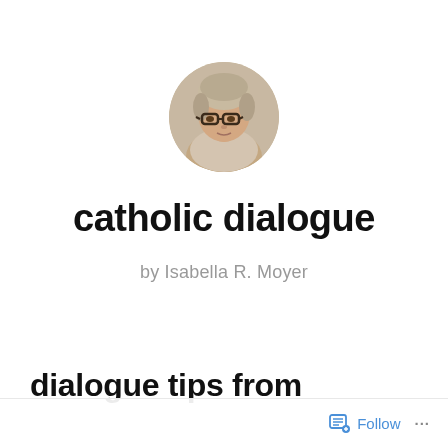[Figure (photo): Circular profile photo of a middle-aged woman with short blonde-gray hair and glasses, appearing to be sitting indoors.]
catholic dialogue
by Isabella R. Moyer
dialogue tips from
[Figure (other): Bottom navigation bar with Follow button and more options (...)]